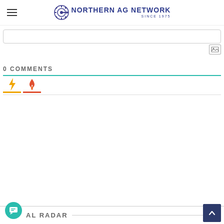NORTHERN AG NETWORK SINCE 1975
[Figure (screenshot): Text input box (comment entry area), with an image upload icon button in the upper right]
0 COMMENTS
[Figure (infographic): Two sort icons: a yellow lightning bolt and an orange/red flame, each with colored underlines indicating comment sort options]
AL RADAR
[Figure (infographic): Chat bubble button (teal circle with speech icon) at bottom left, and scroll-to-top button (dark blue square with up arrow) at bottom right]